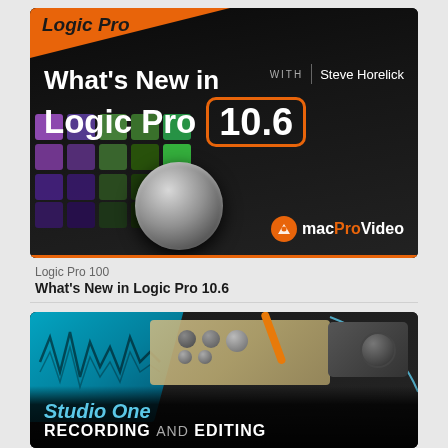[Figure (screenshot): Logic Pro course thumbnail showing 'What's New in Logic Pro 10.6' with dark background, colorful drum pads, metallic knob, orange accent, macProVideo branding, and instructor Steve Horelick]
Logic Pro 100
What's New in Logic Pro 10.6
[Figure (screenshot): Studio One course thumbnail showing recording equipment, tape machine, teal/cyan waveform graphic, and 'Studio One RECORDING AND EDITING' text]